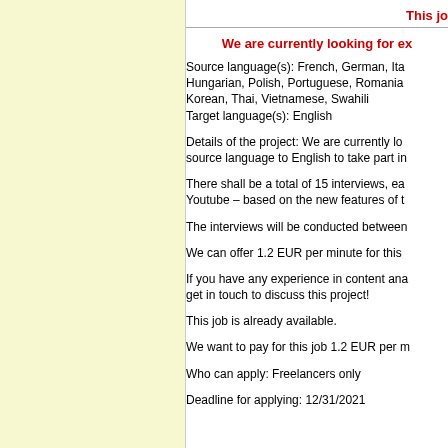This jo
We are currently looking for ex
Source language(s): French, German, Ita
Hungarian, Polish, Portuguese, Romania
Korean, Thai, Vietnamese, Swahili
Target language(s): English
Details of the project: We are currently lo
source language to English to take part in
There shall be a total of 15 interviews, ea
Youtube – based on the new features of t
The interviews will be conducted between
We can offer 1.2 EUR per minute for this
If you have any experience in content ana
get in touch to discuss this project!
This job is already available.
We want to pay for this job 1.2 EUR per m
Who can apply: Freelancers only
Deadline for applying: 12/31/2021